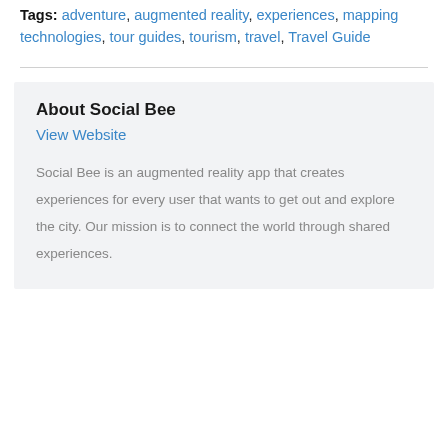Tags: adventure, augmented reality, experiences, mapping technologies, tour guides, tourism, travel, Travel Guide
About Social Bee
View Website
Social Bee is an augmented reality app that creates experiences for every user that wants to get out and explore the city. Our mission is to connect the world through shared experiences.